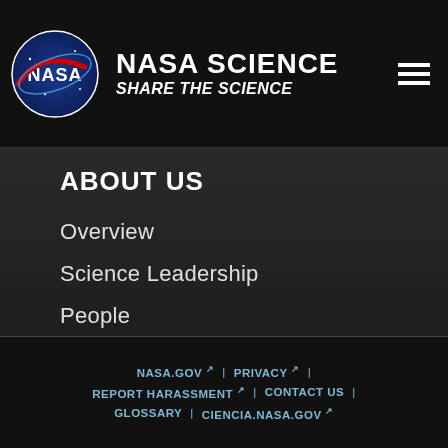NASA SCIENCE | SHARE THE SCIENCE
ABOUT US
Overview
Science Leadership
People
Science Strategy
Job Opportunities
Communications
Contact Us
NASA.GOV | PRIVACY | REPORT HARASSMENT | CONTACT US | GLOSSARY | CIENCIA.NASA.GOV